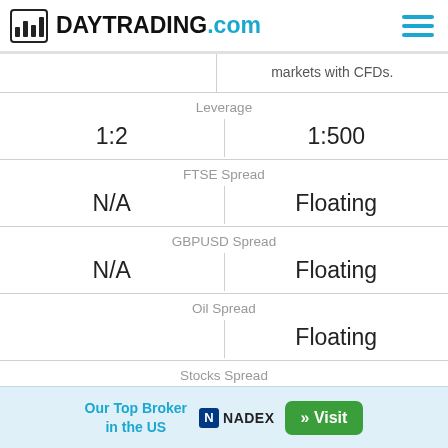DAYTRADING.com
|  |  |
| --- | --- |
|  | markets with CFDs. |
| Leverage |  |
| 1:2 | 1:500 |
| FTSE Spread |  |
| N/A | Floating |
| GBPUSD Spread |  |
| N/A | Floating |
| Oil Spread |  |
|  | Floating |
| Stocks Spread |  |
| 0.3% Var | Floating |
Forex
Our Top Broker in the US  » Visit